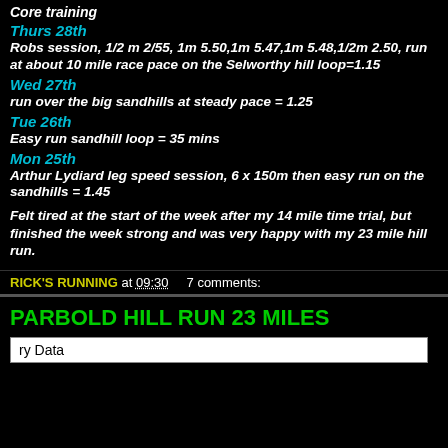Core training
Thurs 28th
Robs session, 1/2 m 2/55, 1m 5.50,1m 5.47,1m 5.48,1/2m 2.50, run at about 10 mile race pace on the Selworthy hill loop=1.15
Wed 27th
run over the big sandhills at steady pace = 1.25
Tue 26th
Easy run sandhill loop = 35 mins
Mon 25th
Arthur Lydiard leg speed session, 6 x 150m then easy run on the sandhills = 1.45
Felt tired at the start of the week after my 14 mile time trial, but finished the week strong and was very happy with my 23 mile hill run.
RICK'S RUNNING at 09:30   7 comments:
PARBOLD HILL RUN 23 MILES
ry Data